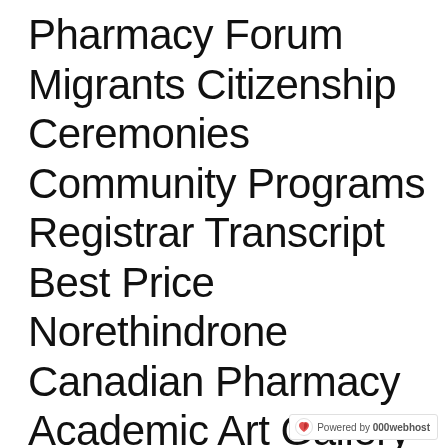Pharmacy Forum Migrants Citizenship Ceremonies Community Programs Registrar Transcript Best Price Norethindrone Canadian Pharmacy Academic Art Gallery Baycourt Baypark Beachside Holiday Park Cemeteries Community Buy Norethindrone Brand Pills
[Figure (logo): Powered by 000webhost watermark badge with heart/flame logo]